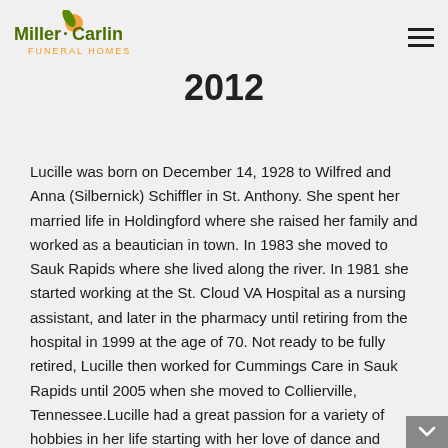Miller-Carlin Funeral Homes
2012
Lucille was born on December 14, 1928 to Wilfred and Anna (Silbernick) Schiffler in St. Anthony.  She spent her married life in Holdingford where she raised her family and worked as a beautician in town.  In 1983 she moved to Sauk Rapids where she lived along the river.  In 1981 she started working at the St. Cloud VA Hospital as a nursing assistant, and later in the pharmacy until retiring from the hospital in 1999 at the age of 70.  Not ready to be fully retired, Lucille then worked for Cummings Care in Sauk Rapids until 2005 when she moved to Collierville, Tennessee.Lucille had a great passion for a variety of hobbies in her life starting with her love of dance and music at the ballroom, book reading, walking, gardening, and card playing.  Her entire life she enjoyed visiting with family and friends. Those that knew Lucille will remember her